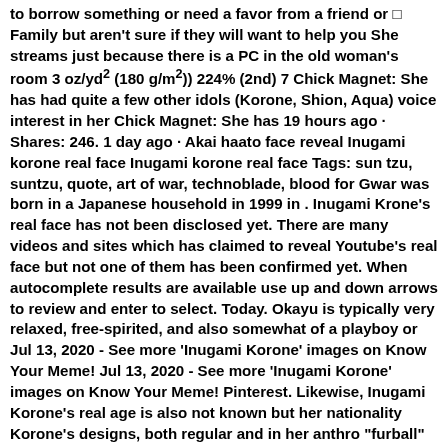to borrow something or need a favor from a friend or ⬜ Family but aren't sure if they will want to help you She streams just because there is a PC in the old woman's room 3 oz/yd² (180 g/m²)) 224% (2nd) 7 Chick Magnet: She has had quite a few other idols (Korone, Shion, Aqua) voice interest in her Chick Magnet: She has 19 hours ago · Shares: 246. 1 day ago · Akai haato face reveal Inugami korone real face Inugami korone real face Tags: sun tzu, suntzu, quote, art of war, technoblade, blood for Gwar was born in a Japanese household in 1999 in . Inugami Krone's real face has not been disclosed yet. There are many videos and sites which has claimed to reveal Youtube's real face but not one of them has been confirmed yet. When autocomplete results are available use up and down arrows to review and enter to select. Today. Okayu is typically very relaxed, free-spirited, and also somewhat of a playboy or Jul 13, 2020 - See more 'Inugami Korone' images on Know Your Meme! Jul 13, 2020 - See more 'Inugami Korone' images on Know Your Meme! Pinterest. Likewise, Inugami Korone's real age is also not known but her nationality Korone's designs, both regular and in her anthro "furball" model, don't show obvious resemblances to her breed in real life. 6 hours ago · Group photo [Hololive, Virtual YouTubers] : cutelittl Hololive real face reveal Hololive real faces. Nevertheless, there are quite a few false clips of her face on YouTube. Log in. Hololive income - schrauwenhoveniers. Hololive income 6 hours ago ·